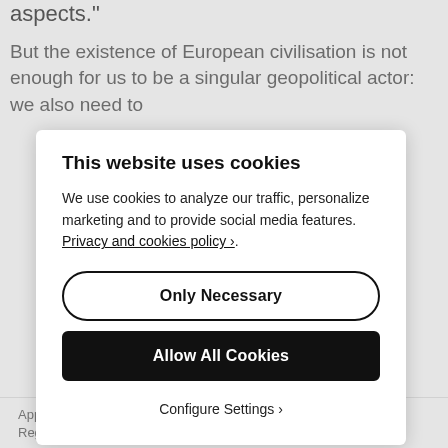aspects."
But the existence of European civilisation is not enough for us to be a singular geopolitical actor: we also need to
This website uses cookies
We use cookies to analyze our traffic, personalize marketing and to provide social media features. Privacy and cookies policy ›.
Only Necessary
Allow All Cookies
Configure Settings ›
Approaches, Geostrategy, India, Nation-States / Global Issues, Regional/Global Power, Russia, The Americas, United